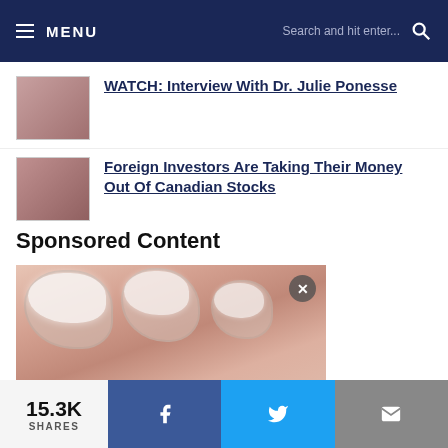≡ MENU | Search and hit enter...
WATCH: Interview With Dr. Julie Ponesse
Foreign Investors Are Taking Their Money Out Of Canadian Stocks
Sponsored Content
[Figure (photo): Close-up photograph of toenails with white cream/fungal treatment applied, showing thick discolored nails with white substance on top. A circular close/X button is visible in the upper right of the image.]
15.3K SHARES [Facebook] [Twitter] [Email]